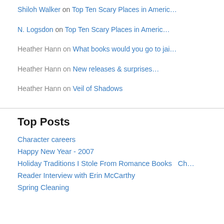Shiloh Walker on Top Ten Scary Places in Americ…
N. Logsdon on Top Ten Scary Places in Americ…
Heather Hann on What books would you go to jai…
Heather Hann on New releases & surprises…
Heather Hann on Veil of Shadows
Top Posts
Character careers
Happy New Year - 2007
Holiday Traditions I Stole From Romance Books   Ch…
Reader Interview with Erin McCarthy
Spring Cleaning